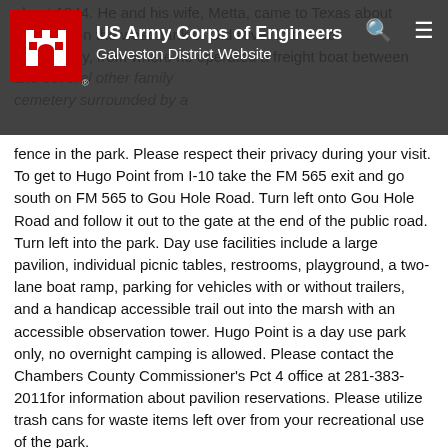US Army Corps of Engineers Galveston District Website
fence in the park.  Please respect their privacy during your visit.  To get to Hugo Point from I-10 take the FM 565 exit and go south on FM 565 to Gou Hole Road.  Turn left onto Gou Hole Road and follow it out to the gate at the end of the public road.  Turn left into the park.  Day use facilities include a large pavilion, individual picnic tables, restrooms, playground, a two-lane boat ramp, parking for vehicles with or without trailers, and a handicap accessible trail out into the marsh with an accessible observation tower.  Hugo Point is a day use park only, no overnight camping is allowed.  Please contact the Chambers County Commissioner's Pct 4 office at 281-383-2011for information about pavilion reservations.  Please utilize trash cans for waste items left over from your recreational use of the park.
3. Trinity River Island Recreation Area first opened to the public in 1999, but was not completed until 2003. Operated by the U.S.